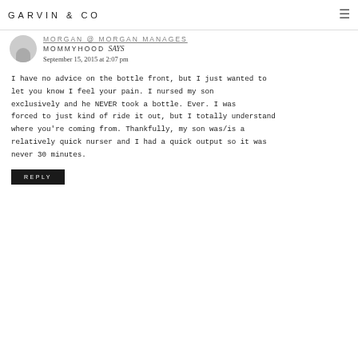GARVIN & CO
MORGAN @ MORGAN MANAGES MOMMYHOOD says
September 15, 2015 at 2:07 pm
I have no advice on the bottle front, but I just wanted to let you know I feel your pain. I nursed my son exclusively and he NEVER took a bottle. Ever. I was forced to just kind of ride it out, but I totally understand where you're coming from. Thankfully, my son was/is a relatively quick nurser and I had a quick output so it was never 30 minutes.
REPLY